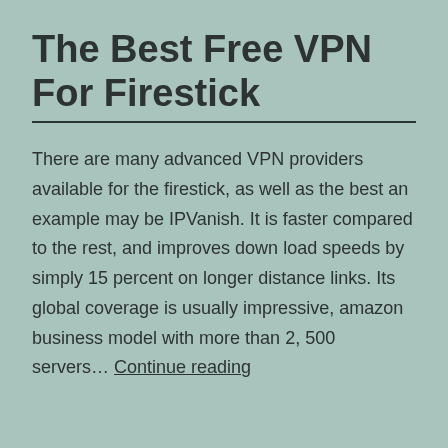The Best Free VPN For Firestick
There are many advanced VPN providers available for the firestick, as well as the best an example may be IPVanish. It is faster compared to the rest, and improves down load speeds by simply 15 percent on longer distance links. Its global coverage is usually impressive, amazon business model with more than 2, 500 servers… Continue reading